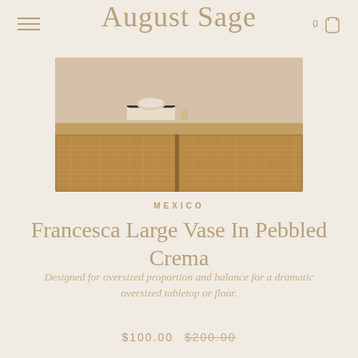August Sage
[Figure (photo): A wooden sideboard or credenza with woven rattan drawer fronts, styled with books and a bowl on top, photographed in warm neutral tones.]
MEXICO
Francesca Large Vase In Pebbled Crema
Designed for oversized proportion and balance for a dramatic oversized tabletop or floor.
$100.00 $200.00